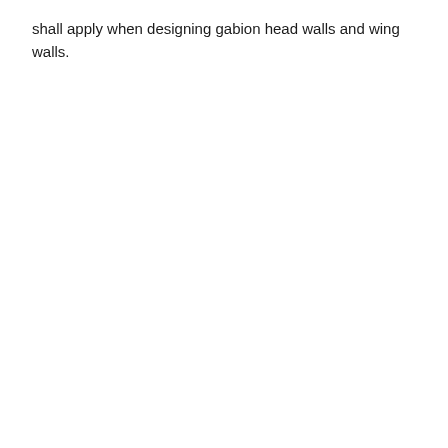shall apply when designing gabion head walls and wing walls.